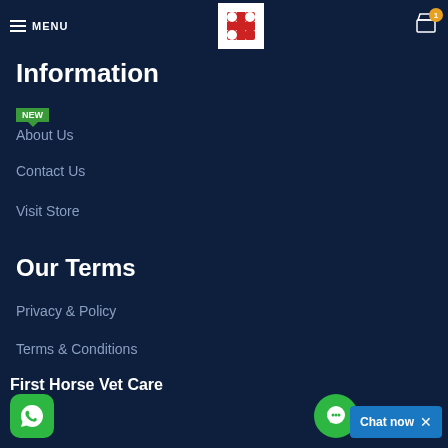MENU | [Logo] | Cart (1)
Information
About Us [NEW]
Contact Us
Visit Store
Our Terms
Privacy & Policy
Terms & Conditions
First Horse Vet Care